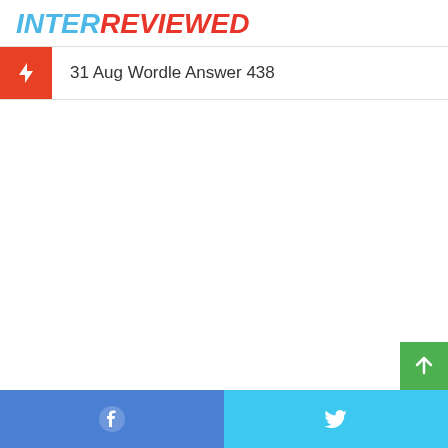INTERREVIEWED
31 Aug Wordle Answer 438
Facebook | Twitter